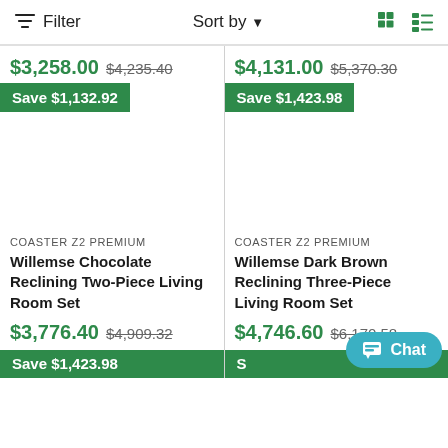Filter   Sort by   [grid icon] [list icon]
$3,258.00  $4,235.40
$4,131.00  $5,370.30
Save $1,132.92
Save $1,423.98
COASTER Z2 PREMIUM
Willemse Chocolate Reclining Two-Piece Living Room Set
$3,776.40  $4,909.32
COASTER Z2 PREMIUM
Willemse Dark Brown Reclining Three-Piece Living Room Set
$4,746.60  $6,170.58
Save $1,423.98
Chat